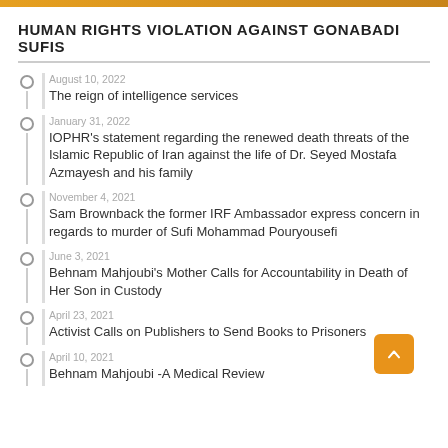HUMAN RIGHTS VIOLATION AGAINST GONABADI SUFIS
August 10, 2022 — The reign of intelligence services
January 31, 2022 — IOPHR's statement regarding the renewed death threats of the Islamic Republic of Iran against the life of Dr. Seyed Mostafa Azmayesh and his family
November 4, 2021 — Sam Brownback the former IRF Ambassador express concern in regards to murder of Sufi Mohammad Pouryousefi
June 3, 2021 — Behnam Mahjoubi's Mother Calls for Accountability in Death of Her Son in Custody
April 23, 2021 — Activist Calls on Publishers to Send Books to Prisoners
April 10, 2021 — Behnam Mahjoubi -A Medical Review